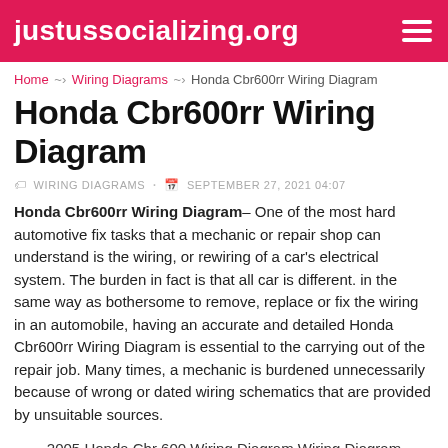justussocializing.org
Home > Wiring Diagrams > Honda Cbr600rr Wiring Diagram
Honda Cbr600rr Wiring Diagram
WIRING DIAGRAMS  •  SEPTEMBER 27, 2021 04:07
Honda Cbr600rr Wiring Diagram– One of the most hard automotive fix tasks that a mechanic or repair shop can understand is the wiring, or rewiring of a car's electrical system. The burden in fact is that all car is different. in the same way as bothersome to remove, replace or fix the wiring in an automobile, having an accurate and detailed Honda Cbr600rr Wiring Diagram is essential to the carrying out of the repair job. Many times, a mechanic is burdened unnecessarily because of wrong or dated wiring schematics that are provided by unsuitable sources.
2005 Honda Cbr 600 Wiring Diagram Wiring Diagram
These days, there are several sources that try to meet the expense